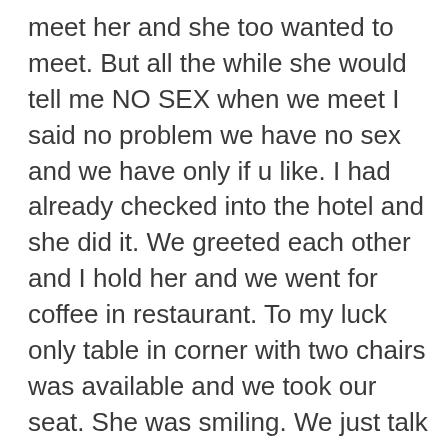meet her and she too wanted to meet. But all the while she would tell me NO SEX when we meet I said no problem we have no sex and we have only if u like. I had already checked into the hotel and she did it. We greeted each other and I hold her and we went for coffee in restaurant. To my luck only table in corner with two chairs was available and we took our seat. She was smiling. We just talk to each other in general and now I put my hand on her leg and was moving se had shivers and was also holding me. We had coffee and by the time we fiinsh we were nearer to each other n I did touch her back rolled my hand n felt her cleavage too. She liked and said hey Mukesh you are naughty. I told her hey darling come to my room we will talk she said ok we meet for dinner and then we go to my room n not yours. I said great. We met for dinner at 9pm and had nice candle light dinner we kissed each other as we were in corner. I hugged her too. Now she was very